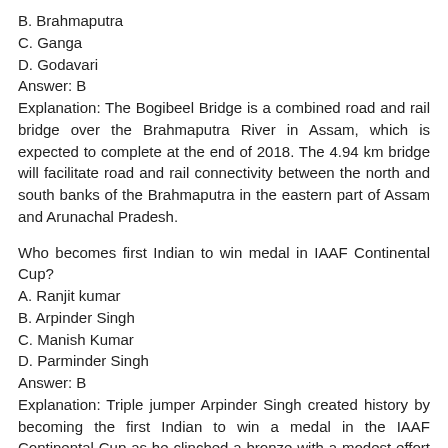B. Brahmaputra
C. Ganga
D. Godavari
Answer: B
Explanation: The Bogibeel Bridge is a combined road and rail bridge over the Brahmaputra River in Assam, which is expected to complete at the end of 2018. The 4.94 km bridge will facilitate road and rail connectivity between the north and south banks of the Brahmaputra in the eastern part of Assam and Arunachal Pradesh.
Who becomes first Indian to win medal in IAAF Continental Cup?
A. Ranjit kumar
B. Arpinder Singh
C. Manish Kumar
D. Parminder Singh
Answer: B
Explanation: Triple jumper Arpinder Singh created history by becoming the first Indian to win a medal in the IAAF Continental Cup as he clinched a bronze with a modest effort of 16.59m at Ostrava in Czech Republic on Sunday.